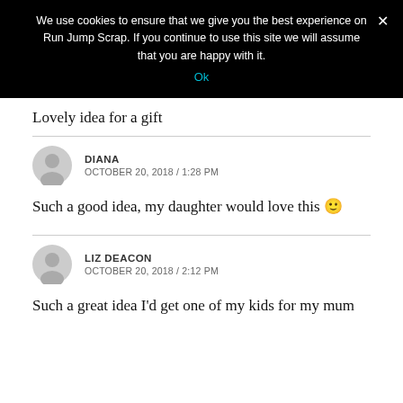We use cookies to ensure that we give you the best experience on Run Jump Scrap. If you continue to use this site we will assume that you are happy with it.
Ok
Lovely idea for a gift
DIANA
OCTOBER 20, 2018 / 1:28 PM
Such a good idea, my daughter would love this 🙂
LIZ DEACON
OCTOBER 20, 2018 / 2:12 PM
Such a great idea I'd get one of my kids for my mum